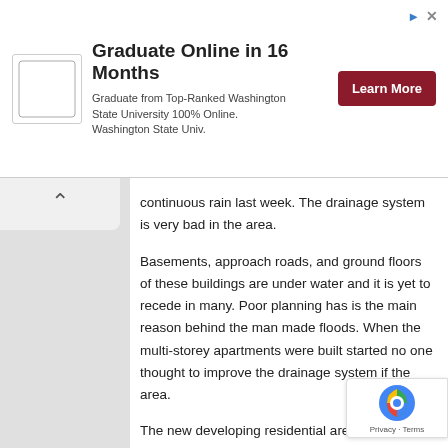[Figure (screenshot): Advertisement banner for Washington State University online graduate program. Contains WSU logo, headline 'Graduate Online in 16 Months', subtext 'Graduate from Top-Ranked Washington State University 100% Online. Washington State Univ.', and a dark red 'Learn More' button.]
continuous rain last week. The drainage system is very bad in the area.
Basements, approach roads, and ground floors of these buildings are under water and it is yet to recede in many. Poor planning has is the main reason behind the man made floods. When the multi-storey apartments were built started no one thought to improve the drainage system if the area.
The new developing residential area and its surrounding lie in a valley of farmland where rain water from Chandaka forest reserve and Nandankan's Kanjia lake flows into. Since the agri lands were converted to residential plots rainwater is bound to entre the buildings.
As Bhubaneswar is a planned city and the landscape is